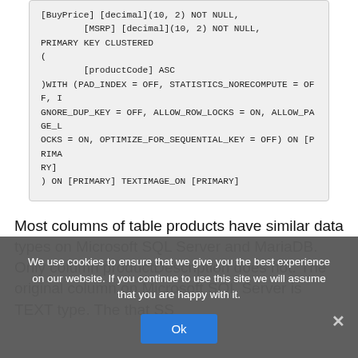[MSRP] [decimal](10, 2) NOT NULL,
PRIMARY KEY CLUSTERED
(
        [productCode] ASC
)WITH (PAD_INDEX = OFF, STATISTICS_NORECOMPUTE = OFF, IGNORE_DUP_KEY = OFF, ALLOW_ROW_LOCKS = ON, ALLOW_PAGE_LOCKS = ON, OPTIMIZE_FOR_SEQUENTIAL_KEY = OFF) ON [PRIMARY]
) ON [PRIMARY] TEXTIMAGE_ON [PRIMARY]
Most columns of table products have similar data types on Microsoft SQL Server and MariaDB. Only column productDescription does not. The original column on Microsoft SQL Server is TEXT type. The that SS...
We use cookies to ensure that we give you the best experience on our website. If you continue to use this site we will assume that you are happy with it.